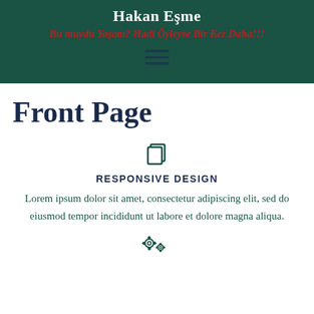Hakan Eşme
Bu muydu Yaşam? Hadi Öyleyse Bir Kez Daha!!!
[Figure (other): Hamburger menu icon (three horizontal lines)]
Front Page
[Figure (other): Responsive design icon — overlapping rectangles]
RESPONSIVE DESIGN
Lorem ipsum dolor sit amet, consectetur adipiscing elit, sed do eiusmod tempor incididunt ut labore et dolore magna aliqua.
[Figure (other): Gear/settings icons (two overlapping cog wheels)]